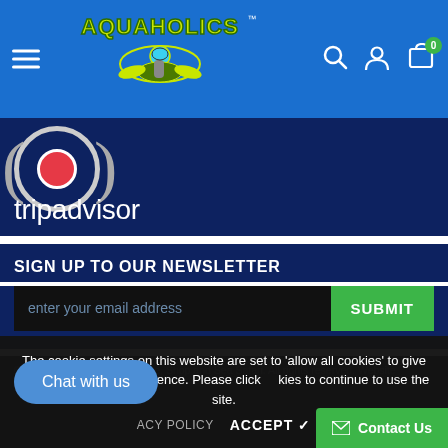[Figure (logo): Aquaholics logo with diver mascot on blue navigation bar with hamburger menu, search, user, and cart icons]
[Figure (logo): Tripadvisor partial logo with circle icons and tripadvisor text on dark blue background]
SIGN UP TO OUR NEWSLETTER
enter your email address
SUBMIT
© 2021 Aquaholics Dive Centre, Shop and Sea Safari. All rights reserved. Website designed and developed by ...
The cookie settings on this website are set to 'allow all cookies' to give you the very best experience. Please click cookies to continue to use the site.
PRIVACY POLICY
ACCEPT
Chat with us
Contact Us